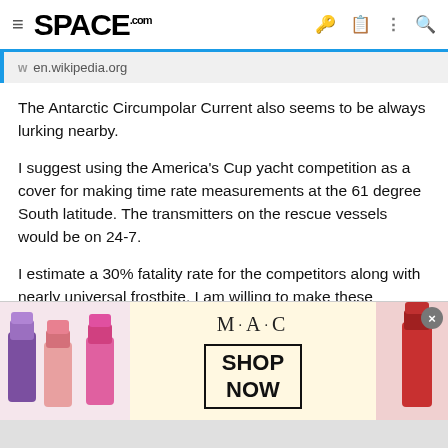SPACE.com
en.wikipedia.org
The Antarctic Circumpolar Current also seems to be always lurking nearby.
I suggest using the America's Cup yacht competition as a cover for making time rate measurements at the 61 degree South latitude. The transmitters on the rescue vessels would be on 24-7.
I estimate a 30% fatality rate for the competitors along with nearly universal frostbite. I am willing to make these sacrifices in order to advance science with these measurements.
[Figure (photo): M·A·C cosmetics advertisement showing lipsticks with SHOP NOW button]